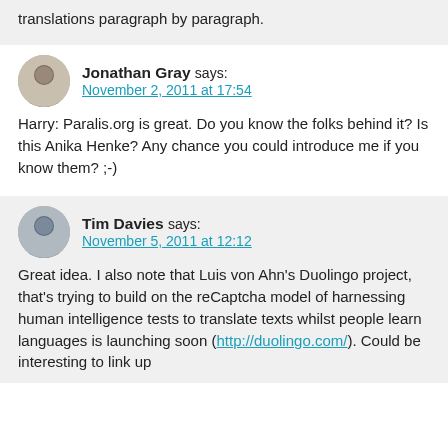translations paragraph by paragraph.
Jonathan Gray says:
November 2, 2011 at 17:54
Harry: Paralis.org is great. Do you know the folks behind it? Is this Anika Henke? Any chance you could introduce me if you know them? ;-)
Tim Davies says:
November 5, 2011 at 12:12
Great idea. I also note that Luis von Ahn's Duolingo project, that's trying to build on the reCaptcha model of harnessing human intelligence tests to translate texts whilst people learn languages is launching soon (http://duolingo.com/). Could be interesting to link up